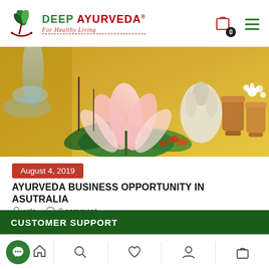[Figure (logo): Deep Ayurveda logo with leaf/plant icon, red and green text, tagline 'For Healthy Living']
[Figure (photo): Ayurvedic/herbal background image showing lotus flower, garlic, copper pots, and spices on golden background]
August 4, 2019
AYURVEDA BUSINESS OPPORTUNITY IN ASUTRALIA
vds  0 comment
CUSTOMER SUPPORT
[Figure (screenshot): Mobile bottom navigation bar with chat, home, search, wishlist, account, and cart icons]